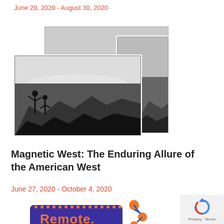June 20, 2020 - August 30, 2020
[Figure (photo): Black and white photo collage showing two people standing on a rocky overlook pointing toward a grand canyon landscape, composed of multiple overlapping photographs]
Magnetic West: The Enduring Allure of the American West
June 27, 2020 - October 4, 2020
[Figure (logo): Remote logo with colorful dotted border on purple/blue background with orange text, alongside a network connector icon with orange nodes]
[Figure (other): Google reCAPTCHA widget with Privacy and Terms links]